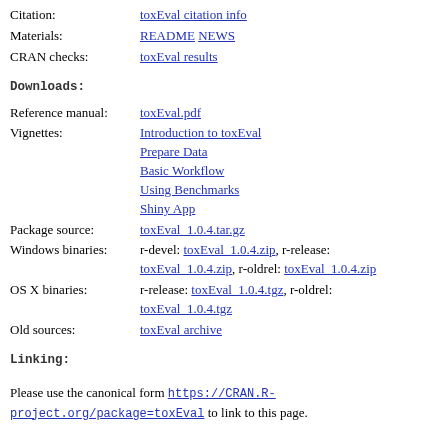Citation: toxEval citation info
Materials: README NEWS
CRAN checks: toxEval results
Downloads:
Reference manual: toxEval.pdf
Vignettes: Introduction to toxEval, Prepare Data, Basic Workflow, Using Benchmarks, Shiny App
Package source: toxEval_1.0.4.tar.gz
Windows binaries: r-devel: toxEval_1.0.4.zip, r-release: toxEval_1.0.4.zip, r-oldrel: toxEval_1.0.4.zip
OS X binaries: r-release: toxEval_1.0.4.tgz, r-oldrel: toxEval_1.0.4.tgz
Old sources: toxEval archive
Linking:
Please use the canonical form https://CRAN.R-project.org/package=toxEval to link to this page.